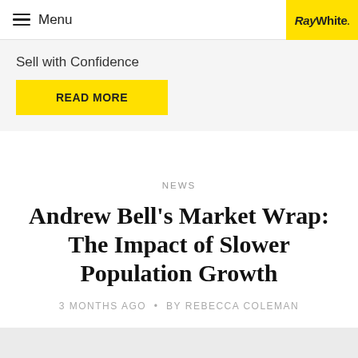Menu
[Figure (logo): RayWhite logo on yellow background]
Sell with Confidence
READ MORE
NEWS
Andrew Bell's Market Wrap: The Impact of Slower Population Growth
3 MONTHS AGO • BY REBECCA COLEMAN
[Figure (photo): Grey placeholder image at bottom of page]